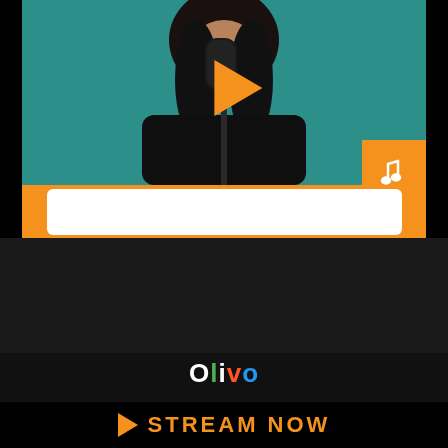[Figure (screenshot): A music streaming app UI card showing a person at a microphone on a teal background, with an orange play button overlay, an orange music note badge in the bottom right, and an orange banner with a white search/input bar.]
[Figure (logo): Olivo streaming service logo with multicolored letters: O(white), l(green), i(white), v(orange), o(blue)]
STREAM NOW